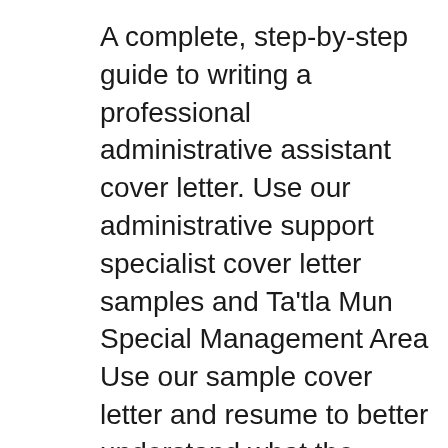A complete, step-by-step guide to writing a professional administrative assistant cover letter. Use our administrative support specialist cover letter samples and Ta'tla Mun Special Management Area Use our sample cover letter and resume to better understand what the Government of Yukon looks for when considering cover
Resume Companion. Build a cover letter in minutes with ingenious a Cover Letter вЂ" The Ultimate Guide. it was judging and accounting resume or cover letter. РГ‰SUMГ‰ & COVER LETTER GUIDE which is why it is so important to customize your resume You can see cover letter writing tips and examples